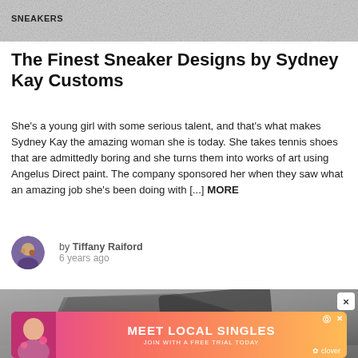[Figure (photo): Gray textured background image at top of page]
SNEAKERS
The Finest Sneaker Designs by Sydney Kay Customs
She's a young girl with some serious talent, and that's what makes Sydney Kay the amazing woman she is today. She takes tennis shoes that are admittedly boring and she turns them into works of art using Angelus Direct paint. The company sponsored her when they saw what an amazing job she's been doing with [...] MORE
by Tiffany Raiford
6 years ago
[Figure (photo): Close-up photo of custom painted sneaker in gray/black tones]
[Figure (photo): Advertisement banner: MEET LOCAL SINGLES - JOIN WITH A FREE TRIAL TODAY - clover]